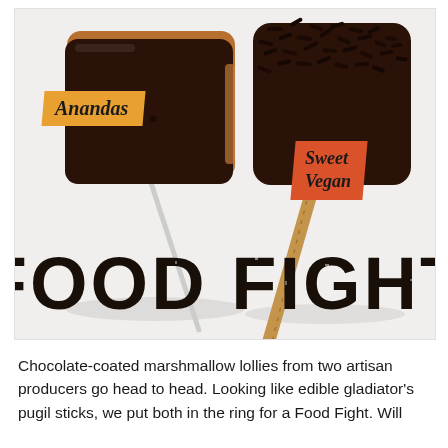[Figure (photo): Two chocolate-coated marshmallow lollies on sticks facing each other against a light background. The left lolly is labeled 'Anandas' on an orange banner, and the right lolly is labeled 'Sweet Vegan' on a red-orange banner. Large bold text at the bottom reads 'FOOD FIGHT'.]
Chocolate-coated marshmallow lollies from two artisan producers go head to head. Looking like edible gladiator's pugil sticks, we put both in the ring for a Food Fight. Will